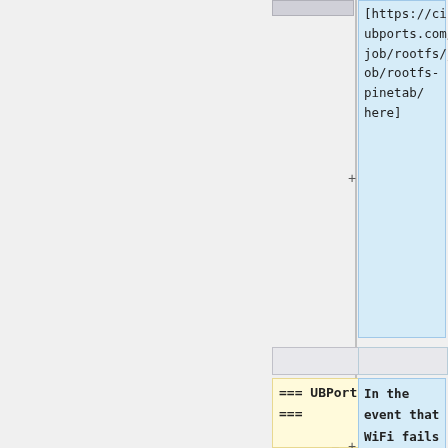[https://ci.ubports.com/job/rootfs/job/rootfs-pinetab/here]
=== UBPorts ===
In the event that WiFi fails to connect, the USB port can be used with an appropriate dongle to connect for internet using ethernet cable